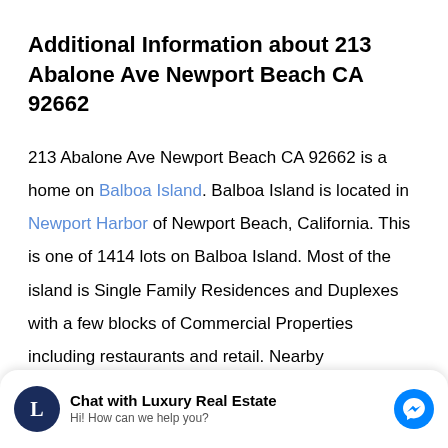Additional Information about 213 Abalone Ave Newport Beach CA 92662
213 Abalone Ave Newport Beach CA 92662 is a home on Balboa Island. Balboa Island is located in Newport Harbor of Newport Beach, California. This is one of 1414 lots on Balboa Island. Most of the island is Single Family Residences and Duplexes with a few blocks of Commercial Properties including restaurants and retail. Nearby communities include Irvine Terrace, Linda Isle, Bayshores, Lido Isle, Dover Shores, Big Canyon,